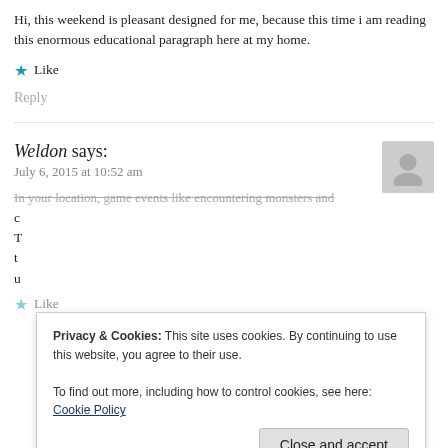Hi, this weekend is pleasant designed for me, because this time i am reading this enormous educational paragraph here at my home.
★ Like
Reply
Weldon says:
July 6, 2015 at 10:52 am
In your location, game events like encountering monsters and c... T... t... u...
Privacy & Cookies: This site uses cookies. By continuing to use this website, you agree to their use.
To find out more, including how to control cookies, see here: Cookie Policy
Close and accept
Like